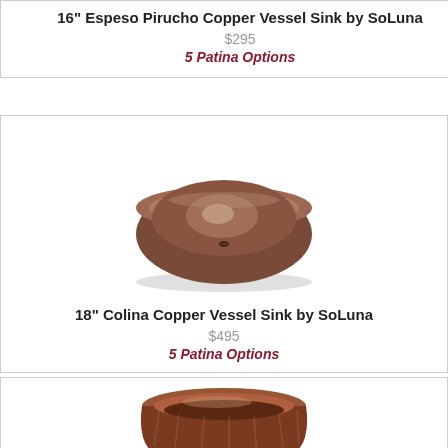16" Espeso Pirucho Copper Vessel Sink by SoLuna
$295
5 Patina Options
[Figure (photo): Round copper vessel sink with smooth brown/dark patina finish, viewed from slight angle above, showing drain hole in center]
18" Colina Copper Vessel Sink by SoLuna
$495
5 Patina Options
[Figure (photo): Copper vessel sink with wider flared rim and dark reddish-brown patina, viewed from slight angle showing interior]